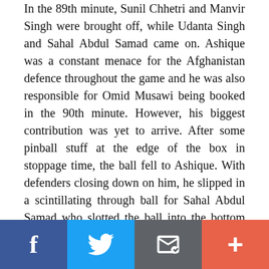In the 89th minute, Sunil Chhetri and Manvir Singh were brought off, while Udanta Singh and Sahal Abdul Samad came on. Ashique was a constant menace for the Afghanistan defence throughout the game and he was also responsible for Omid Musawi being booked in the 90th minute. However, his biggest contribution was yet to arrive. After some pinball stuff at the edge of the box in stoppage time, the ball fell to Ashique. With defenders closing down on him, he slipped in a scintillating through ball for Sahal Abdul Samad who slotted the ball into the bottom left corner from a tough angle to give India all three points and bring ecstatic scenes at the VYBK Stadium.
[Figure (infographic): Social sharing bar with four buttons: Facebook (blue), Twitter (light blue), Email/share (dark grey), and More/plus (orange-red)]